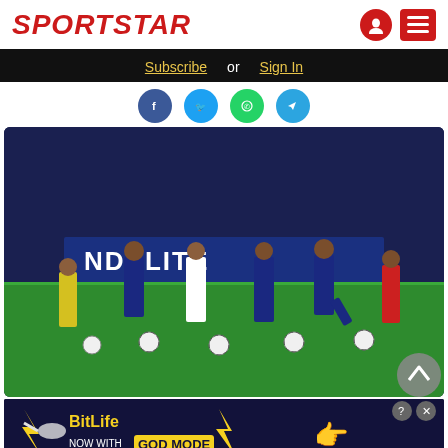SPORTSTAR
Subscribe or Sign In
[Figure (photo): Soccer players on a green field during a match, players in blue and red uniforms, multiple soccer balls on the ground, one player kicking a ball, advertising hoarding in background reading HANDSLITE]
[Figure (photo): BitLife advertisement banner: NOW WITH GOD MODE]